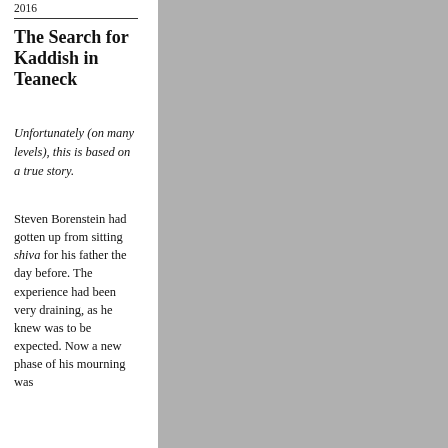2016
The Search for Kaddish in Teaneck
Unfortunately (on many levels), this is based on a true story.
Steven Borenstein had gotten up from sitting shiva for his father the day before. The experience had been very draining, as he knew was to be expected. Now a new phase of his mourning was